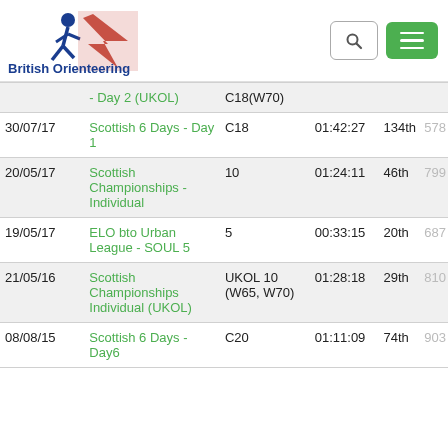[Figure (logo): British Orienteering logo with running figure and text]
| Date | Event | Course | Time | Position | Points |
| --- | --- | --- | --- | --- | --- |
|  | - Day 2 (UKOL) | C18(W70) |  |  |  |
| 30/07/17 | Scottish 6 Days - Day 1 | C18 | 01:42:27 | 134th | 578 |
| 20/05/17 | Scottish Championships - Individual | 10 | 01:24:11 | 46th | 799 |
| 19/05/17 | ELO bto Urban League - SOUL 5 | 5 | 00:33:15 | 20th | 687 |
| 21/05/16 | Scottish Championships Individual (UKOL) | UKOL 10 (W65, W70) | 01:28:18 | 29th | 810 |
| 08/08/15 | Scottish 6 Days - Day6 | C20 | 01:11:09 | 74th | 903 |